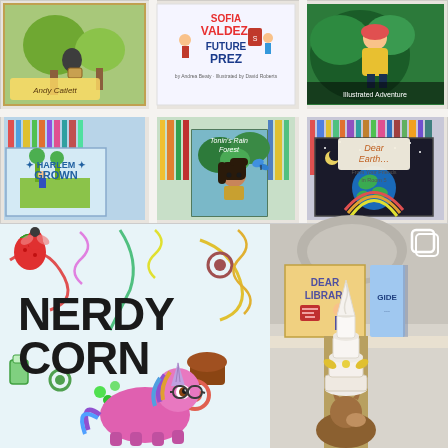[Figure (photo): Top half: A white bookshelf with six compartments arranged in a 2-row by 3-column grid. Top row shows children's book covers: left - an illustrated storybook with trees and a bird (Andy Catlett), center - 'Sofia Valdez, Future Prez' cover, right - a colorful illustrated children's book. Bottom row shows: left compartment with 'Harlem Grown' book cover prominently displayed with other books, center with 'Tonin's Rain Forest' book cover with a girl and butterfly, right with 'Dear Earth... From Your Friends in Room 5' book cover showing Earth from space. Bottom half left: Close-up of 'Nerdy Corn' children's book cover with a pink unicorn wearing glasses surrounded by colorful doodles. Bottom half right: A photo of a stuffed/toy unicorn (white stacked cone horn) with 'Dear Librarian' and 'Gideon' books visible in the background on a white shelf. A multi-image Instagram post icon (two overlapping squares) is visible in the top right of the bottom-right photo.]